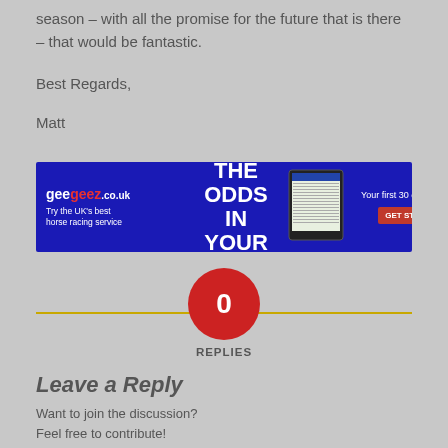season – with all the promise for the future that is there – that would be fantastic.
Best Regards,
Matt
[Figure (other): geegeez.co.uk banner advertisement: 'TURN THE ODDS IN YOUR FAVOUR' with offer 'Your first 30 days for just £1' and 'GET STARTED >' button]
0 REPLIES
Leave a Reply
Want to join the discussion?
Feel free to contribute!